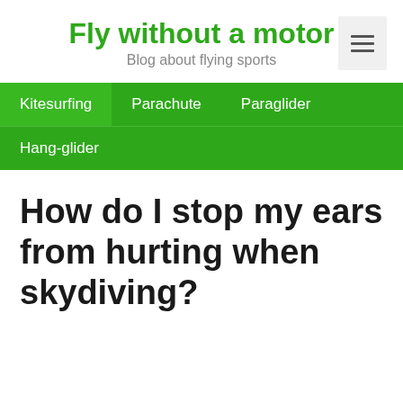Fly without a motor
Blog about flying sports
Navigation menu: Kitesurfing, Parachute, Paraglider, Hang-glider
How do I stop my ears from hurting when skydiving?